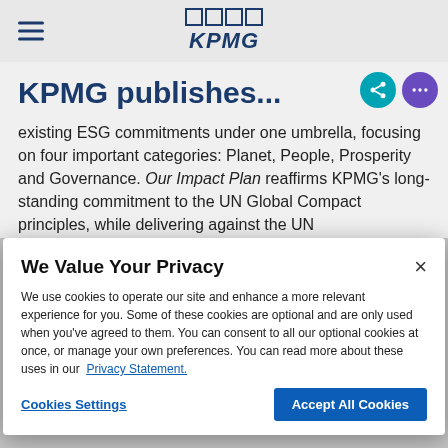KPMG
KPMG publishes...
existing ESG commitments under one umbrella, focusing on four important categories: Planet, People, Prosperity and Governance. Our Impact Plan reaffirms KPMG’s long-standing commitment to the UN Global Compact principles, while delivering against the UN
We Value Your Privacy
We use cookies to operate our site and enhance a more relevant experience for you. Some of these cookies are optional and are only used when you’ve agreed to them. You can consent to all our optional cookies at once, or manage your own preferences. You can read more about these uses in our Privacy Statement.
Cookies Settings | Accept All Cookies